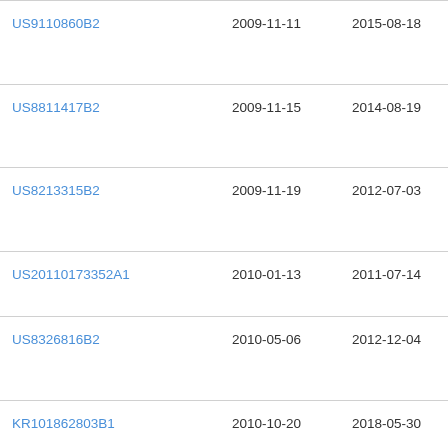| Patent | Filed | Published | Assignee |
| --- | --- | --- | --- |
| US9110860B2 | 2009-11-11 | 2015-08-18 | Me
Tec
Ltd |
| US8811417B2 | 2009-11-15 | 2014-08-19 | Me
Tec
Ltd |
| US8213315B2 | 2009-11-19 | 2012-07-03 | Me
Tec
Ltd |
| US20110173352A1 | 2010-01-13 | 2011-07-14 | Me
Tec |
| US8326816B2 | 2010-05-06 | 2012-12-04 | Ora
Inte
Cor |
| KR101862803B1 | 2010-10-20 | 2018-05-30 | 韓 L |
| WO2012079041A1 | 2010-12-09 | 2012-06-14 | Exe
Inc |